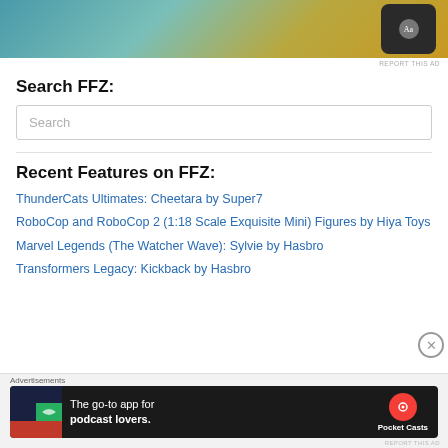[Figure (screenshot): Top advertisement banner with teal/gold gradient background and dark phone overlay with Aa badge]
REPORT THIS AD
Search FFZ:
Search
Recent Features on FFZ:
ThunderCats Ultimates: Cheetara by Super7
RoboCop and RoboCop 2 (1:18 Scale Exquisite Mini) Figures by Hiya Toys
Marvel Legends (The Watcher Wave): Sylvie by Hasbro
Transformers Legacy: Kickback by Hasbro
[Figure (screenshot): Bottom advertisement banner for Pocket Casts - The go-to app for podcast lovers]
REPORT THIS AD